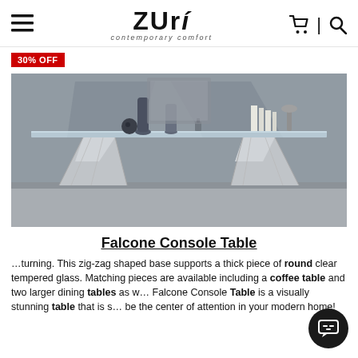Zuri contemporary comfort | navigation with hamburger, cart, search icons
30% OFF
[Figure (photo): Falcone Console Table product photo showing a modern glass-top console table with zig-zag stainless steel base legs, decorative items on top, against a grey background]
Falcone Console Table
…turning. This zig-zag shaped base supports a thick piece of round clear tempered glass. Matching pieces are available including a coffee table and two larger dining tables as w… Falcone Console Table is a visually stunning table that is s… be the center of attention in your modern home!